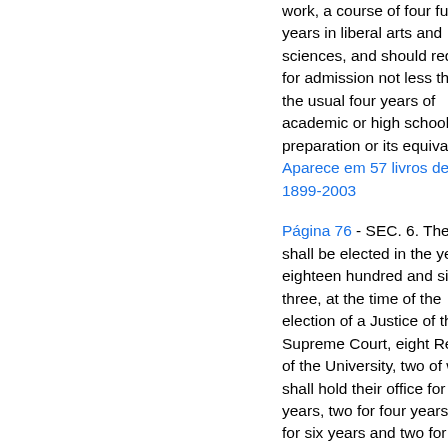work, a course of four full years in liberal arts and sciences, and should require for admission not less than the usual four years of academic or high school preparation or its equivalent.
Aparece em 57 livros de 1899-2003
Página 76 - SEC. 6. There shall be elected in the year eighteen hundred and sixty-three, at the time of the election of a Justice of the Supreme Court, eight Regents of the University, two of whom shall hold their office for two years, two for four years, two for six years and two for eight years.